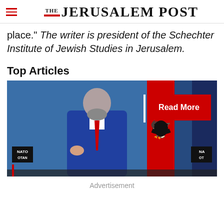THE JERUSALEM POST
place." The writer is president of the Schechter Institute of Jewish Studies in Jerusalem.
Top Articles
[Figure (photo): A man in a blue suit with a red tie speaking at a NATO/OTAN press conference, with Albanian flag visible, blue background with NATO logos. A red 'Read More' button overlay is in the upper right area.]
Advertisement